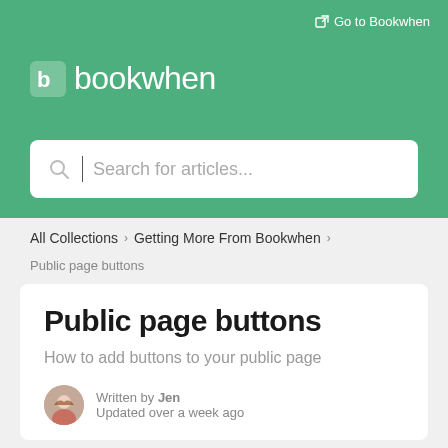Go to Bookwhen
[Figure (logo): Bookwhen logo — white 'b' icon and white wordmark 'bookwhen' on green background]
[Figure (screenshot): Search bar with search icon and placeholder text 'Search for articles...']
All Collections > Getting More From Bookwhen >
Public page buttons
Public page buttons
How to add buttons to your public page
Written by Jen
Updated over a week ago